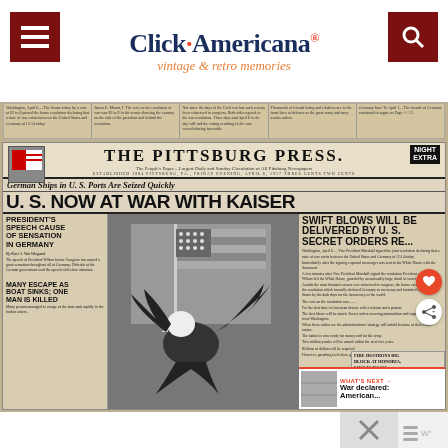Click Americana - vintage & retro memories
[Figure (photo): Scanned newspaper strip showing columns of text from an old newspaper]
[Figure (photo): Front page of The Pittsburg Press newspaper showing headline 'U.S. NOW AT WAR WITH KAISER' with sub-headline 'German Ships in U.S. Ports Are Seized Quickly', secondary headlines 'PRESIDENT'S SPEECH CAUSE OF SENSATION IN GERMANY', 'SWIFT BLOWS WILL BE DELIVERED BY U.S. SECRET ORDERS RE...', 'MANY ESCAPE AS BOAT SINKS; ONE MAN IS KILLED', and a large eagle with American flag illustration in center. Also shows 'WHAT'S NEXT -> War declared: American...' box and 'FIRE DESTROYS BIG BLOCK AT HONORIA, LOSS IS 350,000']
[Figure (screenshot): Bottom partial view of webpage showing close button and partial logo]